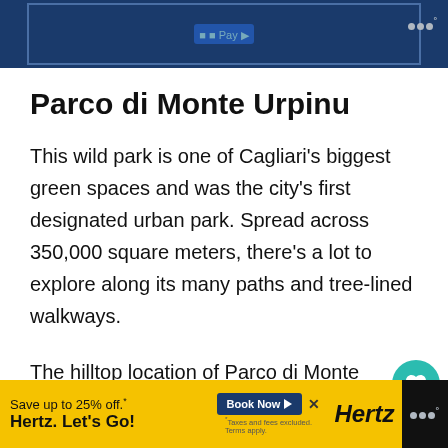[Figure (screenshot): Top advertisement banner with blue background]
Parco di Monte Urpinu
This wild park is one of Cagliari’s biggest green spaces and was the city’s first designated urban park. Spread across 350,000 square meters, there’s a lot to explore along its many paths and tree-lined walkways.
The hilltop location of Parco di Monte Urpinu means visitors are afforded amazing views of the city below, as well as the port. Waterways loop around the rugged park, with bridges
[Figure (screenshot): Hertz advertisement banner: Save up to 25% off. Hertz. Let’s Go! with Book Now button]